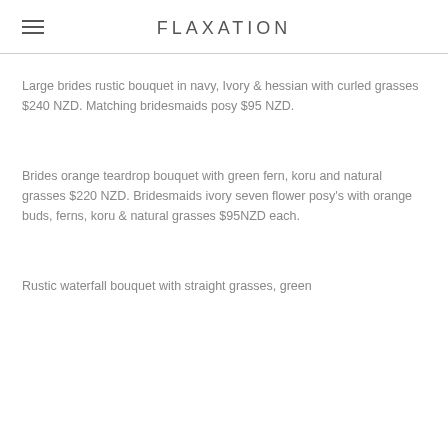FLAXATION
Large brides rustic bouquet in navy, Ivory & hessian with curled grasses $240 NZD. Matching bridesmaids posy $95 NZD.
Brides orange teardrop bouquet with green fern, koru and natural grasses $220 NZD. Bridesmaids ivory seven flower posy's with orange buds, ferns, koru & natural grasses $95NZD each.
Rustic waterfall bouquet with straight grasses, green